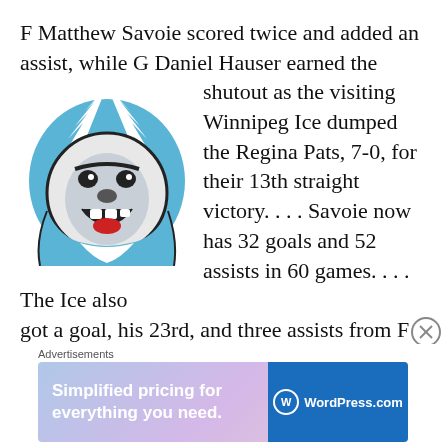F Matthew Savoie scored twice and added an assist, while G Daniel Hauser earned the shutout as the visiting Winnipeg Ice dumped the Regina Pats, 7-0, for their 13th straight victory. . . . Savoie now has 32 goals and 52 assists in 60 games. . . . The Ice also got a goal, his 23rd, and three assists from F Zach Benson, with F Connor McClennon scoring his 40th goal of the season. . . . Hauser stopped 17 shots to put up his WHL-leading
[Figure (logo): Winnipeg Ice hockey team logo — blue and white yeti/sasquatch face with open mouth and red tongue, wearing a blue hood]
[Figure (other): Close button (circled X) for dismissing ad]
Advertisements
[Figure (other): WordPress.com advertisement banner: 'Simplified pricing for everything you need.' with WordPress.com logo on blue background]